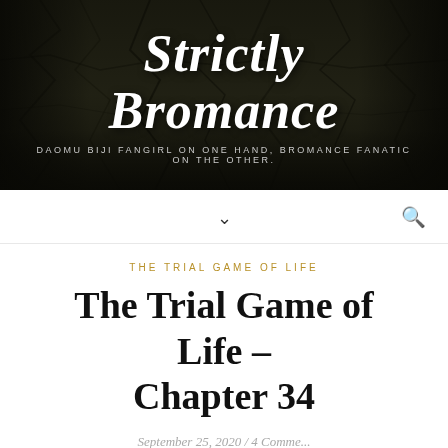Strictly Bromance — DAOMU BIJI FANGIRL ON ONE HAND, BROMANCE FANATIC ON THE OTHER.
THE TRIAL GAME OF LIFE
The Trial Game of Life – Chapter 34
September 25, 2020 / 4 Comments